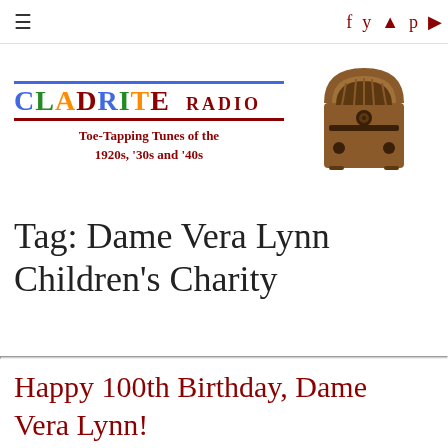≡  f  🐦  📷  p  ▶
[Figure (logo): Cladrite Radio logo with colorful letters spelling CLADRITE RADIO, tagline 'Toe-Tapping Tunes of the 1920s, '30s and '40s', and an image of a vintage wooden radio]
Tag: Dame Vera Lynn Children's Charity
Happy 100th Birthday, Dame Vera Lynn!